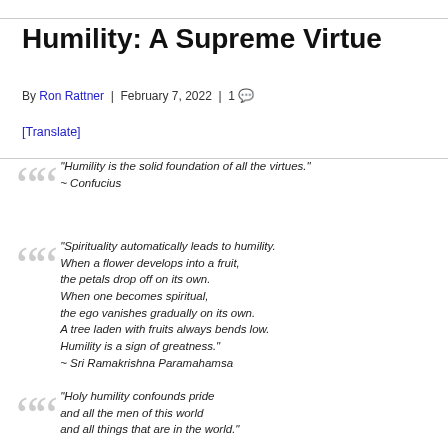Humility: A Supreme Virtue
By Ron Rattner | February 7, 2022 | 1 [comment]
[Translate]
"Humility is the solid foundation of all the virtues." ~ Confucius
"Spirituality automatically leads to humility. When a flower develops into a fruit, the petals drop off on its own. When one becomes spiritual, the ego vanishes gradually on its own. A tree laden with fruits always bends low. Humility is a sign of greatness." ~ Sri Ramakrishna Paramahamsa
"Holy humility confounds pride and all the men of this world and all things that are in the world."